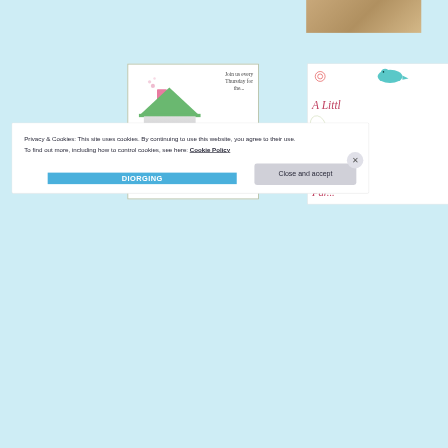[Figure (illustration): Hearts For Home Blog Hop badge. A white square with sage green border showing a house outline in green with a pink chimney and smoke dots, a pink heart in the center of the house. Text 'Join us every Thursday for the...' in upper right. Text 'Hearts For Home Blog Hop' in bold serif font at bottom.]
[Figure (illustration): Partial view of a decorative floral-border image with text 'A Little Told... Wednesday Link... Par...' partially visible on right edge of page.]
Privacy & Cookies: This site uses cookies. By continuing to use this website, you agree to their use.
To find out more, including how to control cookies, see here: Cookie Policy
Close and accept